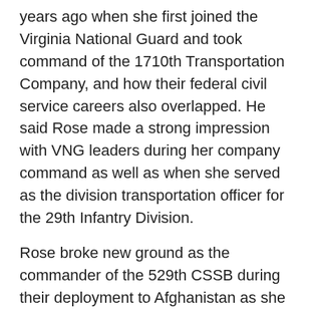years ago when she first joined the Virginia National Guard and took command of the 1710th Transportation Company, and how their federal civil service careers also overlapped. He said Rose made a strong impression with VNG leaders during her company command as well as when she served as the division transportation officer for the 29th Infantry Division.
Rose broke new ground as the commander of the 529th CSSB during their deployment to Afghanistan as she was the first female officer to lead a VNG battalion in a combat zone.
“It was extraordinary to see the level of leadership, the ability, the care for Soldiers and sheer energy she put into the command,” Williams said. “It was remarkable.”
She later succeeded Williams as the commander of the 329th Regional Support Group.
“There is no finer person, there is no one who